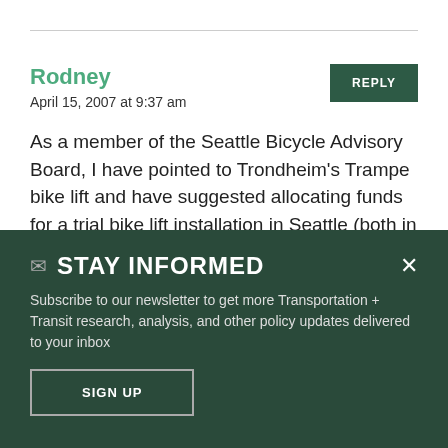Rodney
April 15, 2007 at 9:37 am
As a member of the Seattle Bicycle Advisory Board, I have pointed to Trondheim's Trampe bike lift and have suggested allocating funds for a trial bike lift installation in Seattle (both in bike board
✉ STAY INFORMED
Subscribe to our newsletter to get more Transportation + Transit research, analysis, and other policy updates delivered to your inbox
SIGN UP